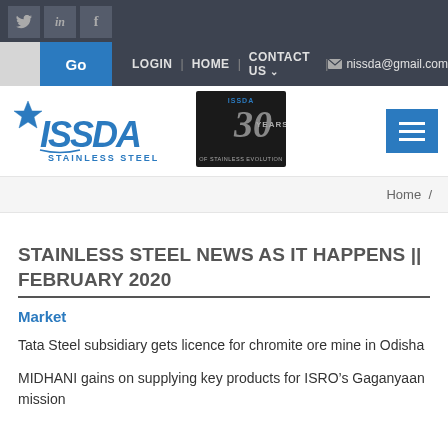Twitter | LinkedIn | Facebook | Go | LOGIN | HOME | CONTACT US | nissda@gmail.com
[Figure (logo): ISSDA Stainless Steel logo and 30 Years of Stainless Evolution badge]
Home /
STAINLESS STEEL NEWS AS IT HAPPENS || FEBRUARY 2020
Market
Tata Steel subsidiary gets licence for chromite ore mine in Odisha
MIDHANI gains on supplying key products for ISRO's Gaganyaan mission